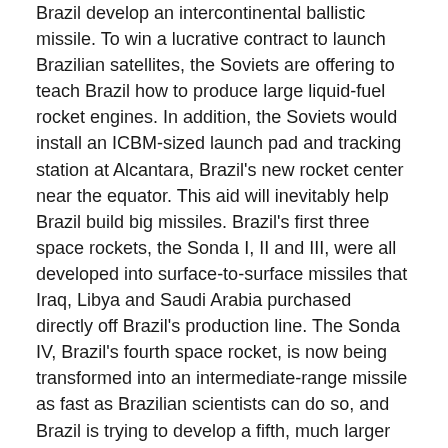Brazil develop an intercontinental ballistic missile. To win a lucrative contract to launch Brazilian satellites, the Soviets are offering to teach Brazil how to produce large liquid-fuel rocket engines. In addition, the Soviets would install an ICBM-sized launch pad and tracking station at Alcantara, Brazil's new rocket center near the equator. This aid will inevitably help Brazil build big missiles. Brazil's first three space rockets, the Sonda I, II and III, were all developed into surface-to-surface missiles that Iraq, Libya and Saudi Arabia purchased directly off Brazil's production line. The Sonda IV, Brazil's fourth space rocket, is now being transformed into an intermediate-range missile as fast as Brazilian scientists can do so, and Brazil is trying to develop a fifth, much larger space rocket called the VLS, which as a missile could deliver a nuclear-sized warhead over 2,000 miles. The Soviet aid will help Brazil perfect both the Sonda IV and the VLS.
The Soviet Union has also offered to sell its latest upper-stage space rocket to India. In addition to the rocket motor